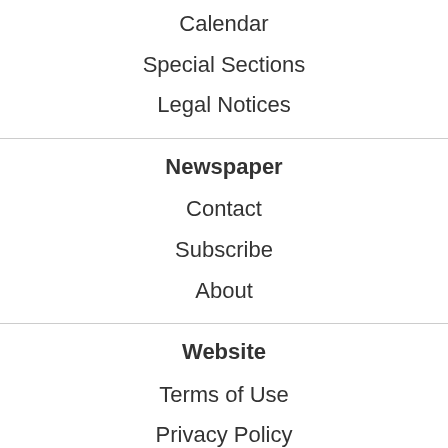Calendar
Special Sections
Legal Notices
Newspaper
Contact
Subscribe
About
Website
Terms of Use
Privacy Policy
Sitemap
Desktop